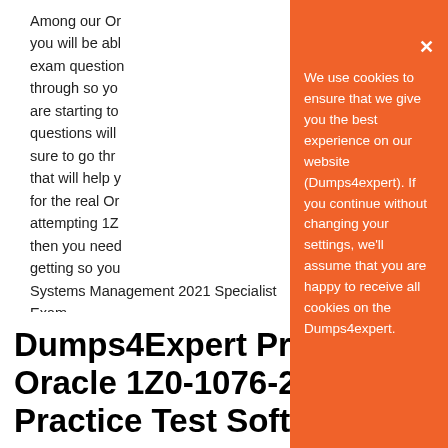Among our Or... you will be able... exam questions... through so you... are starting to... questions will b... sure to go thro... that will help y... for the real Ora... attempting 1Z0... then you need... getting so you... Systems Management 2021 Specialist Exam.
[Figure (other): Orange cookie consent popup overlay with close button (×) and text: We use cookies to ensure that we give you the best experience on our website (Dumps4expert). If you continue without changing your settings, we'll assume that you are happy to receive all cookies on the Dumps4expert.]
Dumps4Expert Provide Oracle 1Z0-1076-21 Practice Test Software for